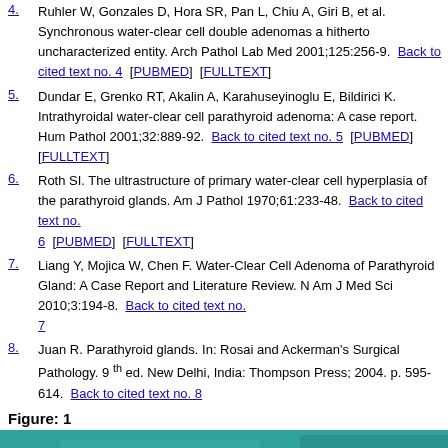4. Ruhler W, Gonzales D, Hora SR, Pan L, Chiu A, Giri B, et al. Synchronous water-clear cell double adenomas a hitherto uncharacterized entity. Arch Pathol Lab Med 2001;125:256-9. Back to cited text no. 4 [PUBMED] [FULLTEXT]
5. Dundar E, Grenko RT, Akalin A, Karahuseyinoglu E, Bildirici K. Intrathyroidal water-clear cell parathyroid adenoma: A case report. Hum Pathol 2001;32:889-92. Back to cited text no. 5 [PUBMED] [FULLTEXT]
6. Roth SI. The ultrastructure of primary water-clear cell hyperplasia of the parathyroid glands. Am J Pathol 1970;61:233-48. Back to cited text no. 6 [PUBMED] [FULLTEXT]
7. Liang Y, Mojica W, Chen F. Water-Clear Cell Adenoma of Parathyroid Gland: A Case Report and Literature Review. N Am J Med Sci 2010;3:194-8. Back to cited text no. 7
8. Juan R. Parathyroid glands. In: Rosai and Ackerman's Surgical Pathology. 9th ed. New Delhi, India: Thompson Press; 2004. p. 595-614. Back to cited text no. 8
Figure: 1
[Figure (photo): Photograph of a surgical specimen or tissue sample of a parathyroid gland, shown against a teal/green background. The specimen appears pinkish-beige in color.]